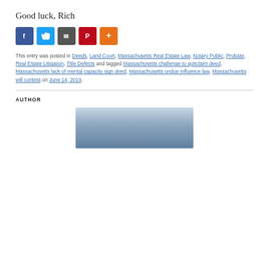Good luck, Rich
[Figure (infographic): Social sharing icons: Facebook (blue), Twitter (light blue), Google/Share (dark gray), Pinterest (red), More (orange)]
This entry was posted in Deeds, Land Court, Massachusetts Real Estate Law, Notary Public, Probate, Real Estate Litigation, Title Defects and tagged Massachusetts challenge to quitclaim deed, Massachusetts lack of mental capacity sign deed, Massachusetts undue influence law, Massachusetts will contest on June 14, 2019.
AUTHOR
[Figure (photo): Author photo showing a person in front of a building, partially visible at bottom of page]